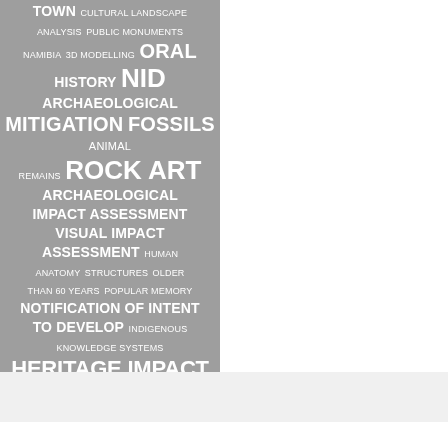[Figure (infographic): Word cloud on gray background featuring heritage and archaeology-related terms. Largest terms: HERITAGE IMPACT ASSESSMENT, NID, ORAL HISTORY, ROCK ART, ARCHAEOLOGICAL MITIGATION FOSSILS, ARCHAEOLOGICAL IMPACT ASSESSMENT, VISUAL IMPACT ASSESSMENT, NOTIFICATION OF INTENT TO DEVELOP. Smaller terms: CULTURAL SIGNIFICANCE, UNIVERSITY OF CAPE TOWN, CULTURAL LANDSCAPE ANALYSIS, PUBLIC MONUMENTS, NAMIBIA, 3D MODELLING, ANIMAL REMAINS, HUMAN ANATOMY, STRUCTURES OLDER THAN 60 YEARS, POPULAR MEMORY, INDIGENOUS KNOWLEDGE SYSTEMS.]